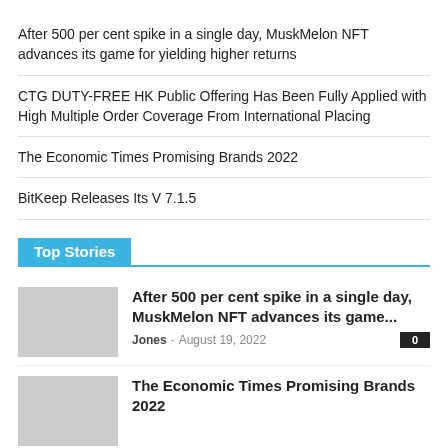After 500 per cent spike in a single day, MuskMelon NFT advances its game for yielding higher returns
CTG DUTY-FREE HK Public Offering Has Been Fully Applied with High Multiple Order Coverage From International Placing
The Economic Times Promising Brands 2022
BitKeep Releases Its V 7.1.5
Top Stories
After 500 per cent spike in a single day, MuskMelon NFT advances its game...
Jones - August 19, 2022
The Economic Times Promising Brands 2022